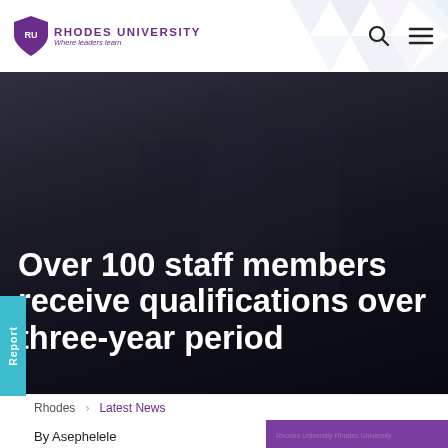RHODES UNIVERSITY — Where leaders learn
[Figure (photo): Hero image: dark background with building silhouette, showing article headline text overlay]
Over 100 staff members receive qualifications over three-year period
Rhodes > Latest News
By Asephelele Shabalala